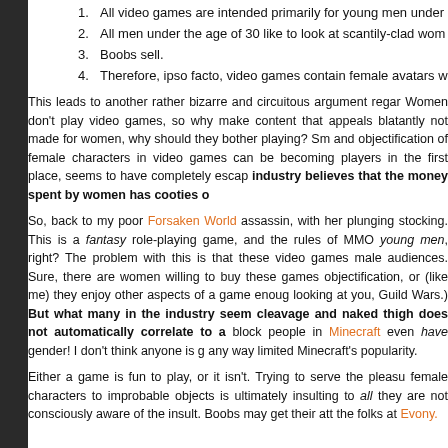1. All video games are intended primarily for young men under
2. All men under the age of 30 like to look at scantily-clad wom
3. Boobs sell.
4. Therefore, ipso facto, video games contain female avatars w
This leads to another rather bizarre and circuitous argument regar Women don't play video games, so why make content that appeals blatantly not made for women, why should they bother playing? Sm and objectification of female characters in video games can be becoming players in the first place, seems to have completely escap industry believes that the money spent by women has cooties o
So, back to my poor Forsaken World assassin, with her plunging stocking. This is a fantasy role-playing game, and the rules of MMO young men, right? The problem with this is that these video games male audiences. Sure, there are women willing to buy these games objectification, or (like me) they enjoy other aspects of a game enoug looking at you, Guild Wars.) But what many in the industry seem cleavage and naked thigh does not automatically correlate to a block people in Minecraft even have gender! I don't think anyone is g any way limited Minecraft's popularity.
Either a game is fun to play, or it isn't. Trying to serve the pleasu female characters to improbable objects is ultimately insulting to all they are not consciously aware of the insult. Boobs may get their att the folks at Evony.